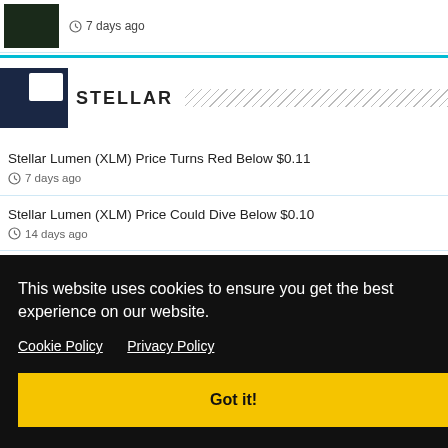[Figure (screenshot): Small thumbnail image of a financial chart with dark background]
7 days ago
STELLAR
Stellar Lumen (XLM) Price Turns Red Below $0.11
7 days ago
Stellar Lumen (XLM) Price Could Dive Below $0.10
14 days ago
This website uses cookies to ensure you get the best experience on our website.
Cookie Policy   Privacy Policy
Got it!
25 days ago
ruktur